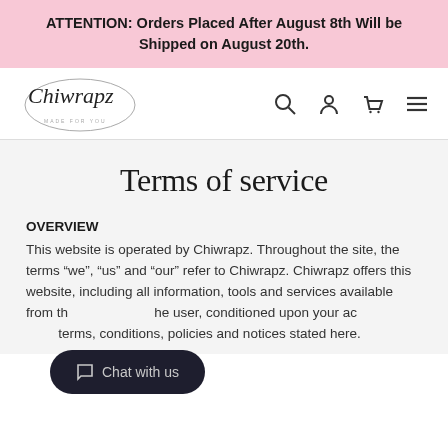ATTENTION: Orders Placed After August 8th Will be Shipped on August 20th.
[Figure (logo): Chiwrapz brand logo with circular script lettering and tagline]
Terms of service
OVERVIEW
This website is operated by Chiwrapz. Throughout the site, the terms “we”, “us” and “our” refer to Chiwrapz. Chiwrapz offers this website, including all information, tools and services available from this site to you, the user, conditioned upon your acceptance of all terms, conditions, policies and notices stated here.